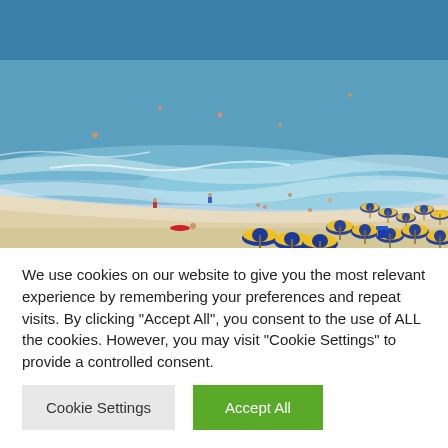[Figure (photo): Aerial view of a beach with blue ocean waves, white sand, people swimming and sunbathing, and rows of blue and yellow beach umbrellas with lounge chairs.]
We use cookies on our website to give you the most relevant experience by remembering your preferences and repeat visits. By clicking "Accept All", you consent to the use of ALL the cookies. However, you may visit "Cookie Settings" to provide a controlled consent.